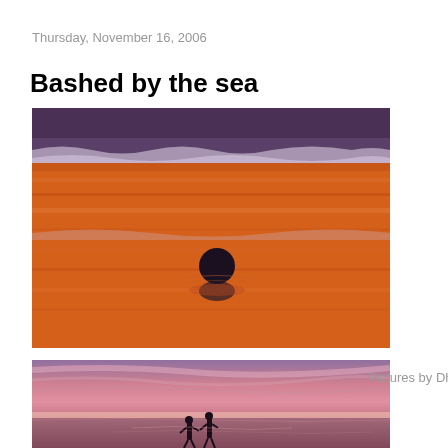Thursday, November 16, 2006
Bashed by the sea
[Figure (photo): Beach at sunset with warm orange-red tones showing waves at the top and a dark ball object sitting on the wet sand reflecting in the water below it]
[Figure (photo): Beach at sunset with pink and purple sky silhouetting two people standing on the wet sand near the water's edge]
Pictures by Dha